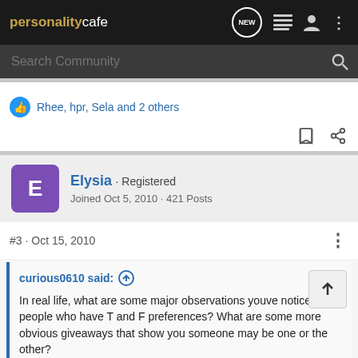personalitycafe - Search Community
Rhee, hpr, Sela and 2 others
Elysia · Registered
Joined Oct 5, 2010 · 421 Posts
#3 · Oct 15, 2010
curious0610 said: ↑
In real life, what are some major observations youve noticed of people who have T and F preferences? What are some more obvious giveaways that show you someone may be one or the other?

these are some specific situations im interested in: